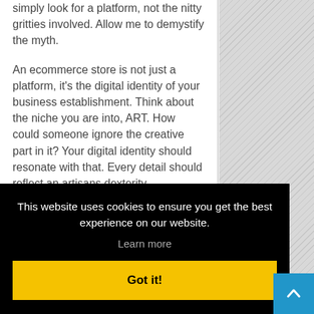simply look for a platform, not the nitty gritties involved. Allow me to demystify the myth.
An ecommerce store is not just a platform, it's the digital identity of your business establishment. Think about the niche you are into, ART. How could someone ignore the creative part in it?  Your digital identity should resonate with that. Every detail should reflect an artisans dexterity.
This website uses cookies to ensure you get the best experience on our website.
Learn more
Got it!